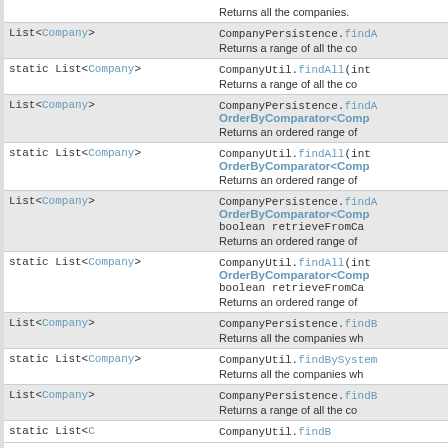| Type | Description |
| --- | --- |
|  | Returns all the companies. |
| List<Company> | CompanyPersistence.findA...
Returns a range of all the co... |
| static List<Company> | CompanyUtil.findAll(int ...
Returns a range of all the co... |
| List<Company> | CompanyPersistence.findA...
OrderByComparator<Comp...
Returns an ordered range of |
| static List<Company> | CompanyUtil.findAll(int ...
OrderByComparator<Comp...
Returns an ordered range of |
| List<Company> | CompanyPersistence.findA...
OrderByComparator<Comp...
boolean retrieveFromCa...
Returns an ordered range of |
| static List<Company> | CompanyUtil.findAll(int ...
OrderByComparator<Comp...
boolean retrieveFromCa...
Returns an ordered range of |
| List<Company> | CompanyPersistence.findB...
Returns all the companies wh... |
| static List<Company> | CompanyUtil.findBySystem...
Returns all the companies wh... |
| List<Company> | CompanyPersistence.findB...
Returns a range of all the co... |